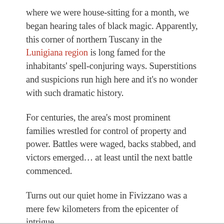where we were house-sitting for a month, we began hearing tales of black magic. Apparently, this corner of northern Tuscany in the Lunigiana region is long famed for the inhabitants' spell-conjuring ways. Superstitions and suspicions run high here and it's no wonder with such dramatic history.
For centuries, the area's most prominent families wrestled for control of property and power. Battles were waged, backs stabbed, and victors emerged... at least until the next battle commenced.
Turns out our quiet home in Fivizzano was a mere few kilometers from the epicenter of intrigue.
CASTELLO DELLA VERRUCOLA